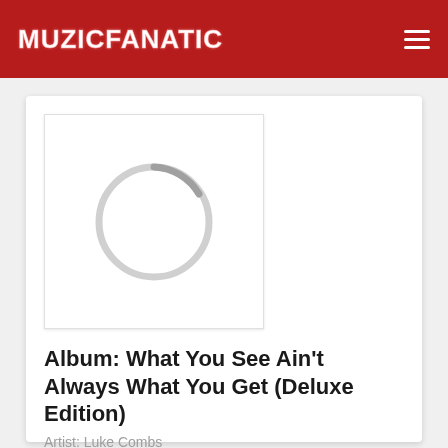MUZICFANATIC
[Figure (illustration): Album cover placeholder with a loading spinner circle on white background]
Album: What You See Ain't Always What You Get (Deluxe Edition)
Artist: Luke Combs
Genre: Country